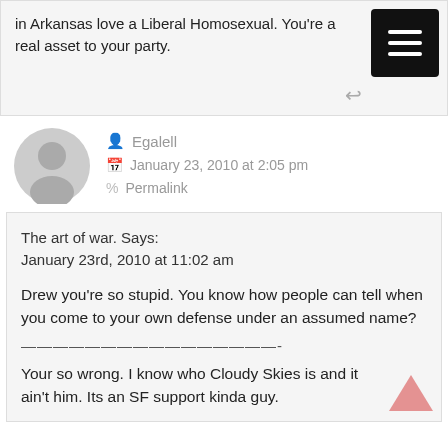in Arkansas love a Liberal Homosexual. You're a real asset to your party.
Egalell
January 23, 2010 at 2:05 pm
Permalink
The art of war. Says:
January 23rd, 2010 at 11:02 am

Drew you're so stupid. You know how people can tell when you come to your own defense under an assumed name?
————————————————-

Your so wrong. I know who Cloudy Skies is and it ain't him. Its an SF support kinda guy.